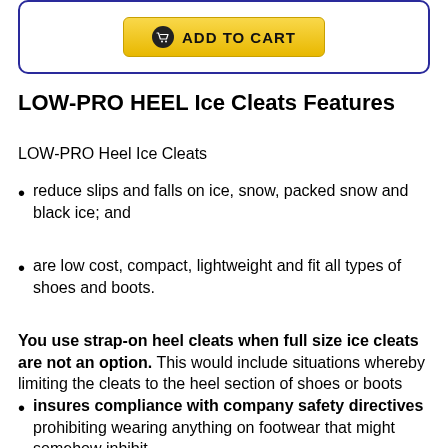[Figure (other): Add to Cart button with shopping cart icon on yellow/gold background inside a rounded blue-bordered box]
LOW-PRO HEEL Ice Cleats Features
LOW-PRO Heel Ice Cleats
reduce slips and falls on ice, snow, packed snow and black ice; and
are low cost, compact, lightweight and fit all types of shoes and boots.
You use strap-on heel cleats when full size ice cleats are not an option. This would include situations whereby limiting the cleats to the heel section of shoes or boots
insures compliance with company safety directives prohibiting wearing anything on footwear that might somehow inhibit